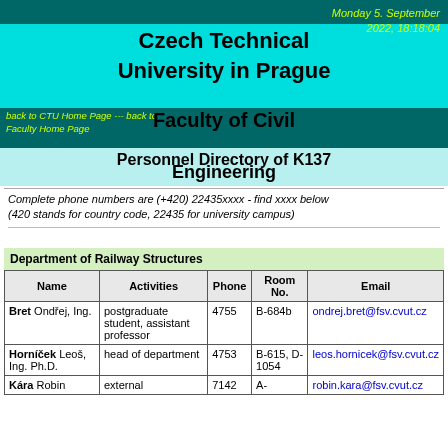Monday 5. September 2022, 18:18:04
Czech Technical University in Prague
back to CTU Home Page --- back to Faculty Home Page
Faculty of Civil Engineering
Personnel Directory of K137
Complete phone numbers are (+420) 22435xxxx - find xxxx below (420 stands for country code, 22435 for university campus)
Department of Railway Structures
| Name | Activities | Phone | Room No. | Email |
| --- | --- | --- | --- | --- |
| Bret Ondřej, Ing. | postgraduate student, assistant professor | 4755 | B-684b | ondrej.bret@fsv.cvut.cz |
| Horníček Leoš, Ing. Ph.D. | head of department | 4753 | B-615, D-1054 | leos.hornicek@fsv.cvut.cz |
| Kára Robin | external | 7142 | A- | robin.kara@fsv.cvut.cz |